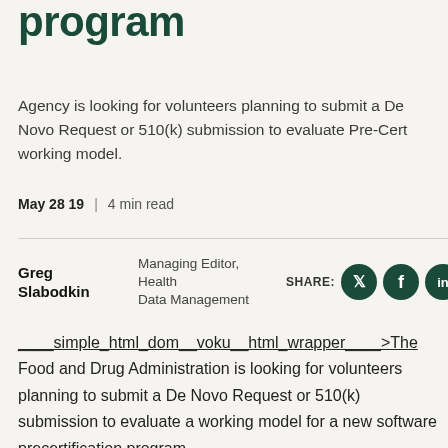program
Agency is looking for volunteers planning to submit a De Novo Request or 510(k) submission to evaluate Pre-Cert working model.
May 28 19 | 4 min read
Greg Slabodkin  Managing Editor, Health Data Management  SHARE:
____simple_html_dom__voku__html_wrapper____ >The Food and Drug Administration is looking for volunteers planning to submit a De Novo Request or 510(k) submission to evaluate a working model for a new software precertification program.